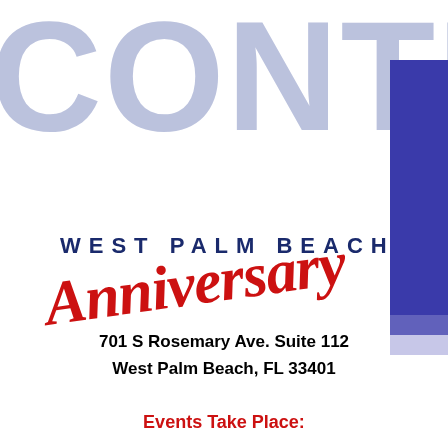[Figure (logo): Partial view of large light-blue/lavender 'CONTINU' text cut off at top, with a dark blue vertical bar/rectangle on the right side — part of a logo]
[Figure (logo): West Palm Beach Anniversary logo: 'WEST PALM BEACH' in spaced dark blue capital letters above 'Anniversary' in red cursive/script font, with a dark blue vertical bar to the right]
701 S Rosemary Ave. Suite 112
West Palm Beach, FL 33401
Events Take Place: